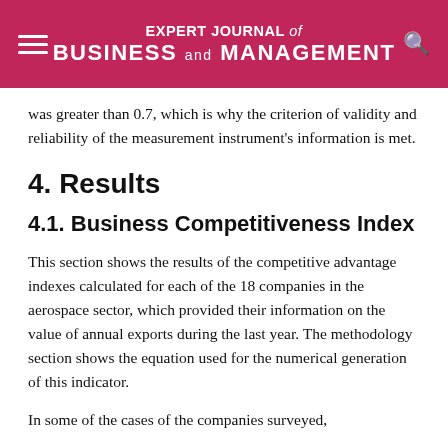EXPERT JOURNAL of BUSINESS and MANAGEMENT
was greater than 0.7, which is why the criterion of validity and reliability of the measurement instrument's information is met.
4. Results
4.1. Business Competitiveness Index
This section shows the results of the competitive advantage indexes calculated for each of the 18 companies in the aerospace sector, which provided their information on the value of annual exports during the last year. The methodology section shows the equation used for the numerical generation of this indicator.
In some of the cases of the companies surveyed,